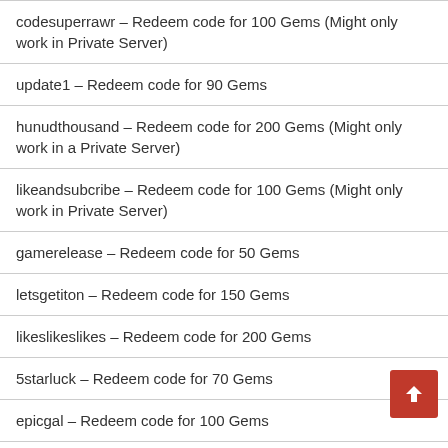codesuperrawr – Redeem code for 100 Gems (Might only work in Private Server)
update1 – Redeem code for 90 Gems
hunudthousand – Redeem code for 200 Gems (Might only work in a Private Server)
likeandsubcribe – Redeem code for 100 Gems (Might only work in Private Server)
gamerelease – Redeem code for 50 Gems
letsgetiton – Redeem code for 150 Gems
likeslikeslikes – Redeem code for 200 Gems
5starluck – Redeem code for 70 Gems
epicgal – Redeem code for 100 Gems
hallowten – Redeem code for a Broom Mount
watchaot – Redeem code for 150 Gems (Might only work in a Private Server)